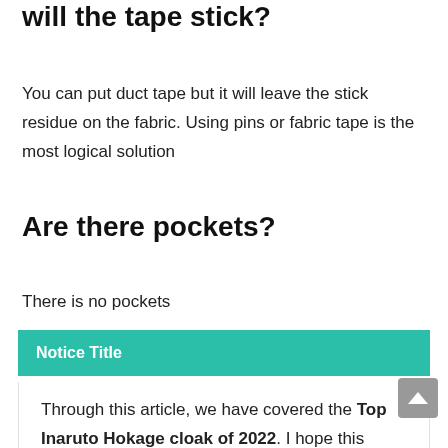will the tape stick?
You can put duct tape but it will leave the stick residue on the fabric. Using pins or fabric tape is the most logical solution
Are there pockets?
There is no pockets
Notice Title
Through this article, we have covered the Top Inaruto Hokage cloak of 2022. I hope this article was informative enough to help you make the